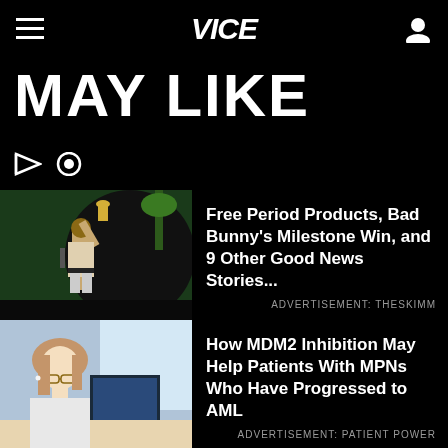VICE
MAY LIKE
Free Period Products, Bad Bunny's Milestone Win, and 9 Other Good News Stories...
ADVERTISEMENT: THESKIMM
How MDM2 Inhibition May Help Patients With MPNs Who Have Progressed to AML
ADVERTISEMENT: PATIENT POWER